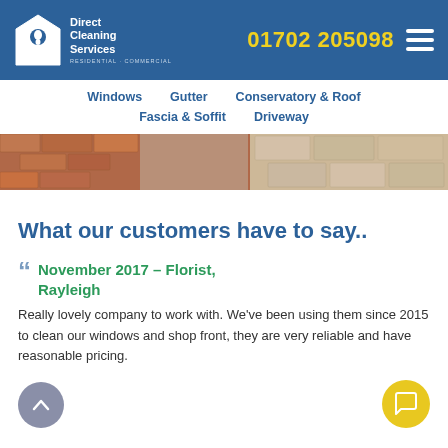Direct Cleaning Services | RESIDENTIAL + COMMERCIAL | 01702 205098
Windows
Gutter
Conservatory & Roof
Fascia & Soffit
Driveway
[Figure (photo): Driveway paving stones before and after cleaning]
What our customers have to say..
November 2017 – Florist, Rayleigh
Really lovely company to work with. We've been using them since 2015 to clean our windows and shop front, they are very reliable and have reasonable pricing.